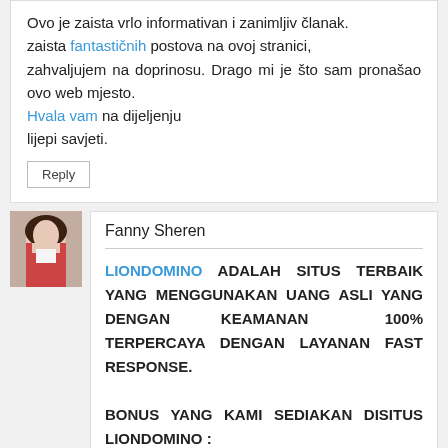Ovo je zaista vrlo informativan i zanimljiv članak. zaista fantastičnih postova na ovoj stranici, zahvaljujem na doprinosu. Drago mi je što sam pronašao ovo web mjesto. Hvala vam na dijeljenju lijepi savjeti.
Reply
Fanny Sheren
LIONDOMINO ADALAH SITUS TERBAIK YANG MENGGUNAKAN UANG ASLI YANG DENGAN KEAMANAN 100% TERPERCAYA DENGAN LAYANAN FAST RESPONSE.

BONUS YANG KAMI SEDIAKAN DISITUS LIONDOMINO :
* BONUS ROLLINGAN / BONUS TURNOVER 0.3% - 0.5% SETIAP HARI JUMATNYA